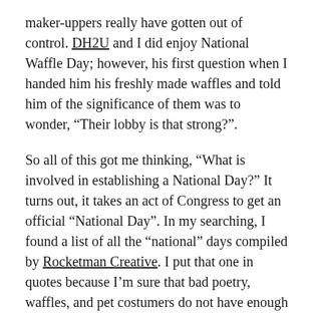maker-uppers really have gotten out of control. DH2U and I did enjoy National Waffle Day; however, his first question when I handed him his freshly made waffles and told him of the significance of them was to wonder, “Their lobby is that strong?”.
So all of this got me thinking, “What is involved in establishing a National Day?”  It turns out, it takes an act of Congress to get an official “National Day”. In my searching, I found a list of all the “national” days compiled by Rocketman Creative. I put that one in quotes because I’m sure that bad poetry, waffles, and pet costumers do not have enough money to have it be official.
Calendars like this help me so much with coming up